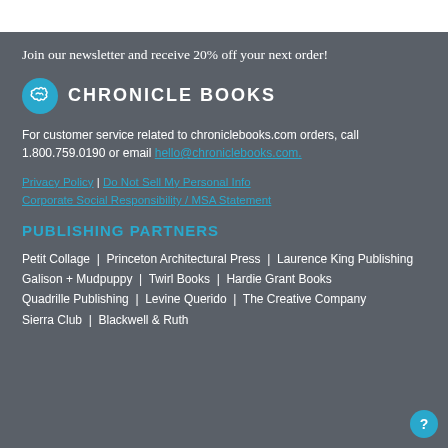Join our newsletter and receive 20% off your next order!
[Figure (logo): Chronicle Books logo: teal circle with stylized script icon, followed by CHRONICLE BOOKS in bold uppercase letters]
For customer service related to chroniclebooks.com orders, call 1.800.759.0190 or email hello@chroniclebooks.com.
Privacy Policy | Do Not Sell My Personal Info | Corporate Social Responsibility / MSA Statement
PUBLISHING PARTNERS
Petit Collage | Princeton Architectural Press | Laurence King Publishing
Galison + Mudpuppy | Twirl Books | Hardie Grant Books
Quadrille Publishing | Levine Querido | The Creative Company
Sierra Club | Blackwell & Ruth